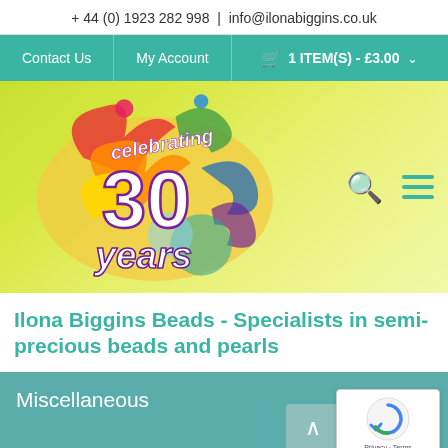+ 44 (0) 1923 282 998  |  info@ilonabiggins.co.uk
Contact Us | My Account | 1 ITEM(S) - £3.00
[Figure (logo): Celebrating 30 years logo with colorful paint splashes on yellow-green gradient background, with search and menu icons]
Ilona Biggins Beads - Specialists in semi-precious beads and pearls
Miscellaneous